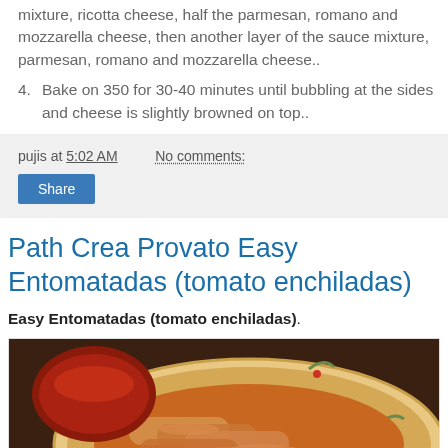mixture, ricotta cheese, half the parmesan, romano and mozzarella cheese, then another layer of the sauce mixture, parmesan, romano and mozzarella cheese..
4. Bake on 350 for 30-40 minutes until bubbling at the sides and cheese is slightly browned on top..
pujis at 5:02 AM    No comments:
Share
Path Crea Provato Easy Entomatadas (tomato enchiladas)
Easy Entomatadas (tomato enchiladas).
[Figure (photo): A plate of tomato enchiladas (entomatadas) on a decorative plate with a red sauce bowl visible in the upper left, on a wooden table surface.]